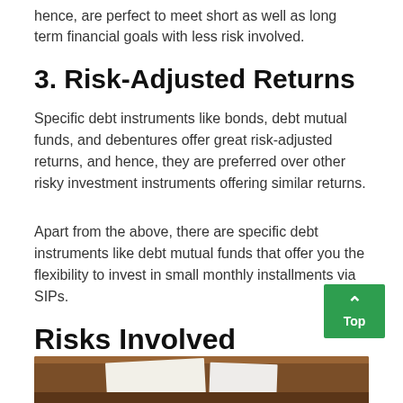hence, are perfect to meet short as well as long term financial goals with less risk involved.
3. Risk-Adjusted Returns
Specific debt instruments like bonds, debt mutual funds, and debentures offer great risk-adjusted returns, and hence, they are preferred over other risky investment instruments offering similar returns.
Apart from the above, there are specific debt instruments like debt mutual funds that offer you the flexibility to invest in small monthly installments via SIPs.
Risks Involved
[Figure (photo): Partial view of a wooden desk surface with paper documents on it, shown at the bottom of the page.]